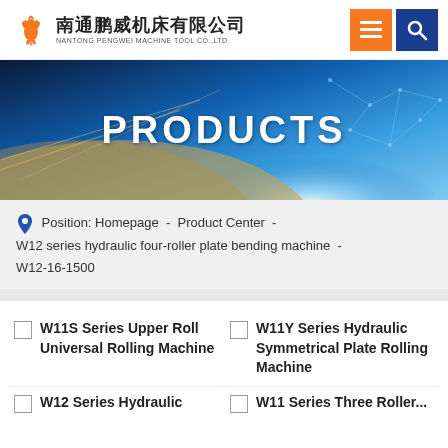[Figure (logo): Nantong Pengwei Machine Tool Co., Ltd. logo with orange phoenix icon, Chinese and English text]
[Figure (screenshot): Website banner with space/earth background image and PRODUCTS text overlay]
Position: Homepage - Product Center - W12 series hydraulic four-roller plate bending machine - W12-16-1500
W11S Series Upper Roll Universal Rolling Machine
W11Y Series Hydraulic Symmetrical Plate Rolling Machine
W12 Series Hydraulic Four...
W11 Series Three Roller...